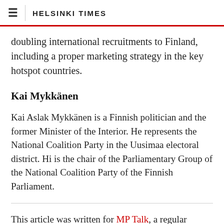HELSINKI TIMES
doubling international recruitments to Finland, including a proper marketing strategy in the key hotspot countries.
Kai Mykkänen
Kai Aslak Mykkänen is a Finnish politician and the former Minister of the Interior. He represents the National Coalition Party in the Uusimaa electoral district. Hi is the chair of the Parliamentary Group of the National Coalition Party of the Finnish Parliament.
This article was written for MP Talk, a regular column from the Helsinki Times in which Members of The Finnish